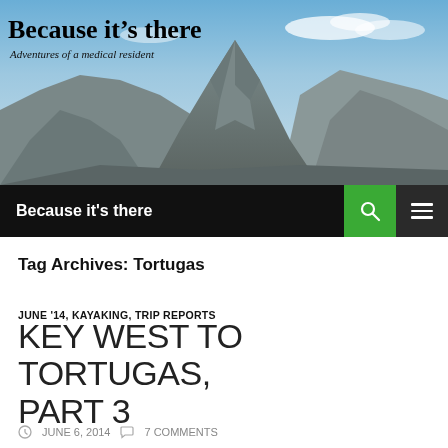[Figure (photo): Blog header banner showing a dramatic mountain peak against a blue sky with the blog title 'Because it's there' and subtitle 'Adventures of a medical resident' overlaid in the top left]
Because it's there
Tag Archives: Tortugas
JUNE '14, KAYAKING, TRIP REPORTS
KEY WEST TO TORTUGAS, PART 3
JUNE 6, 2014   7 COMMENTS